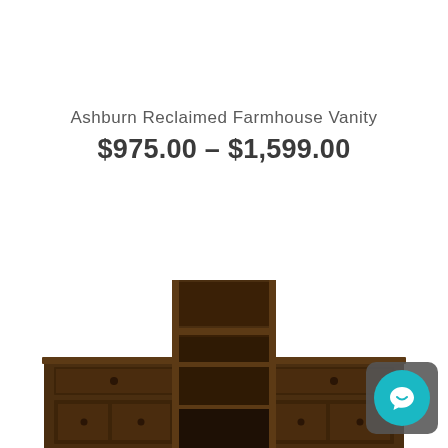Ashburn Reclaimed Farmhouse Vanity
$975.00 – $1,599.00
[Figure (photo): Front view of the Ashburn Reclaimed Farmhouse Vanity, a dark walnut-stained wooden vanity with a tall central open shelf tower, two side cabinets with drawers and panel doors, and decorative hardware.]